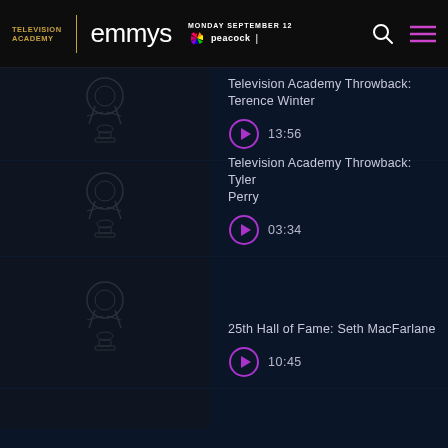Television Academy emmys MONDAY SEPTEMBER 12 NBC | peacock
[Figure (screenshot): Emmy statuette watermark thumbnail - dark background]
Television Academy Throwback: Terence Winter
13:56
[Figure (screenshot): Emmy statuette watermark thumbnail - dark background]
Television Academy Throwback: Tyler Perry
03:34
[Figure (screenshot): Emmy statuette watermark thumbnail - dark background]
25th Hall of Fame: Seth MacFarlane
10:45
[Figure (screenshot): Emmy statuette watermark thumbnail - partial, dark background]